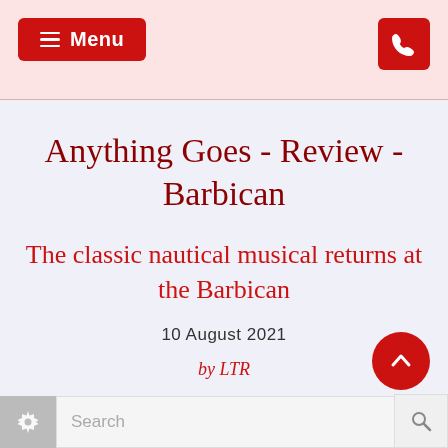Menu [phone icon]
Anything Goes - Review - Barbican
The classic nautical musical returns at the Barbican
10 August 2021
by LTR